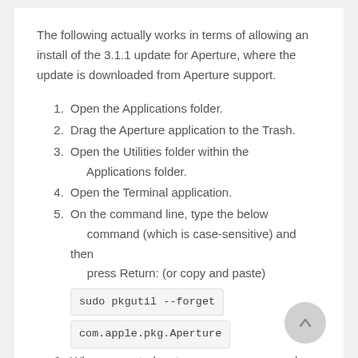The following actually works in terms of allowing an install of the 3.1.1 update for Aperture, where the update is downloaded from Aperture support.
1. Open the Applications folder.
2. Drag the Aperture application to the Trash.
3. Open the Utilities folder within the Applications folder.
4. Open the Terminal application.
5. On the command line, type the below command (which is case-sensitive) and then press Return: (or copy and paste) sudo pkgutil --forget com.apple.pkg.Aperture
6. When prompted, enter your user password